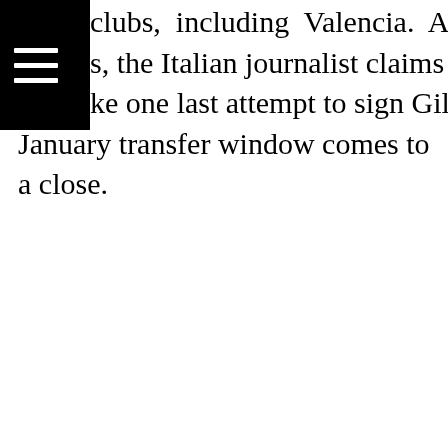clubs, including Valencia. And despite their initial s, the Italian journalist claims Los Che are prepared ke one last attempt to sign Gil on loan before the January transfer window comes to a close.